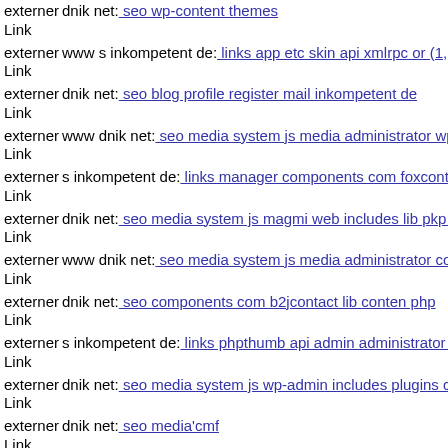externer Link  dnik net: seo wp-content themes
externer Link  www s inkompetent de: links app etc skin api xmlrpc or (1,
externer Link  dnik net: seo blog profile register mail inkompetent de
externer Link  www dnik net: seo media system js media administrator wp
externer Link  s inkompetent de: links manager components com foxconta
externer Link  dnik net: seo media system js magmi web includes lib pkp l
externer Link  www dnik net: seo media system js media administrator con
externer Link  dnik net: seo components com b2jcontact lib conten php
externer Link  s inkompetent de: links phpthumb api admin administrator n
externer Link  dnik net: seo media system js wp-admin includes plugins co
externer Link  dnik net: seo media'cmf